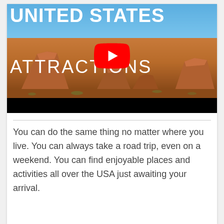[Figure (screenshot): YouTube video thumbnail for 'United States Attractions' showing Monument Valley desert mesas under blue sky, with YouTube play button overlay and black bar at bottom]
You can do the same thing no matter where you live. You can always take a road trip, even on a weekend. You can find enjoyable places and activities all over the USA just awaiting your arrival.